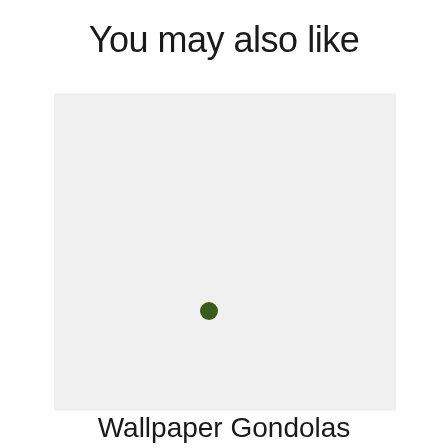You may also like
[Figure (other): A light gray rectangular image placeholder with a small dark green circle in the lower-center area]
Wallpaper  Gondolas